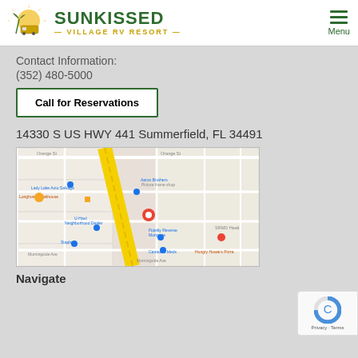Sunkissed Village RV Resort - Menu
Contact Information:
(352) 480-5000
Call for Reservations
14330 S US HWY 441 Summerfield, FL 34491
[Figure (map): Google Maps embed showing the location at 14330 S US HWY 441, Summerfield, FL 34491 with a red pin marker. Surrounding area shows Lady Lake Auto Salvage, Longhorn Steakhouse, Aaron Brothers Picture Frame Shop, U-Haul Neighborhood Dealer, Fidelity Reverse Mortgage, SRMD Health, Staples, Canadian Meds, Hungry Howie's Pizza.]
Navigate